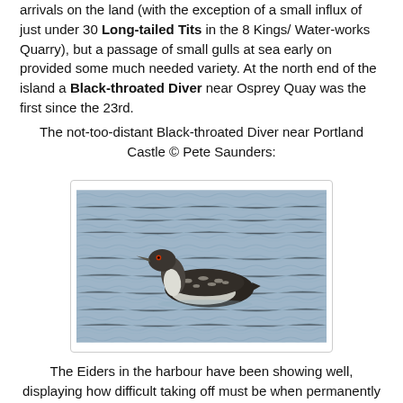arrivals on the land (with the exception of a small influx of just under 30 Long-tailed Tits in the 8 Kings/ Water-works Quarry), but a passage of small gulls at sea early on provided some much needed variety. At the north end of the island a Black-throated Diver near Osprey Quay was the first since the 23rd.
The not-too-distant Black-throated Diver near Portland Castle © Pete Saunders:
[Figure (photo): A Black-throated Diver bird swimming on calm blue-grey water, viewed from the side, showing dark back with white spotting and white throat/chest.]
The Eiders in the harbour have been showing well, displaying how difficult taking off must be when permanently